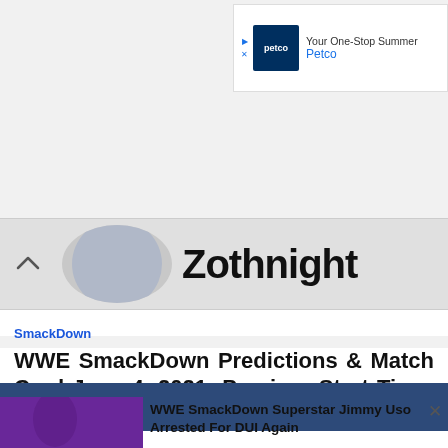[Figure (other): Petco advertisement banner with logo and text 'Your One-Stop Summer' and brand name 'Petco']
[Figure (other): Collapsed banner with chevron-up icon, circular logo, and bold partial text 'Zothnight']
SmackDown
WWE SmackDown Predictions & Match Card June 4, 2021: Preview, Start Time, Locati...
[Figure (other): Breaking News collapsible bar with chevron-down icon, dark blue background, text 'ng News']
[Figure (other): News thumbnail showing Jimmy Uso in purple wrestling event lighting]
WWE SmackDown Superstar Jimmy Uso Arrested For DUI Again